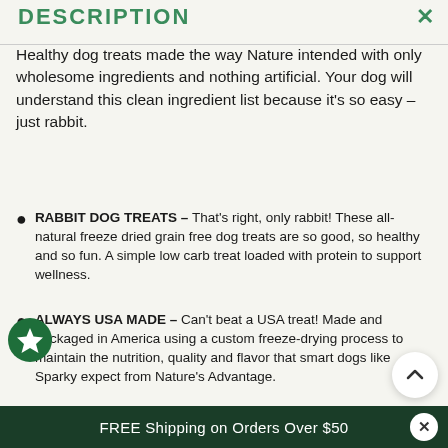DESCRIPTION
Healthy dog treats made the way Nature intended with only wholesome ingredients and nothing artificial. Your dog will understand this clean ingredient list because it's so easy – just rabbit.
RABBIT DOG TREATS – That's right, only rabbit! These all-natural freeze dried grain free dog treats are so good, so healthy and so fun. A simple low carb treat loaded with protein to support wellness.
ALWAYS USA MADE – Can't beat a USA treat! Made and packaged in America using a custom freeze-drying process to maintain the nutrition, quality and flavor that smart dogs like Sparky expect from Nature's Advantage.
CLEAN INGREDIENTS – Check the label, Sparky has. He loves what he sees and tastes! A limited ingredient, gluten free dog treat with no fillers
FREE Shipping on Orders Over $50